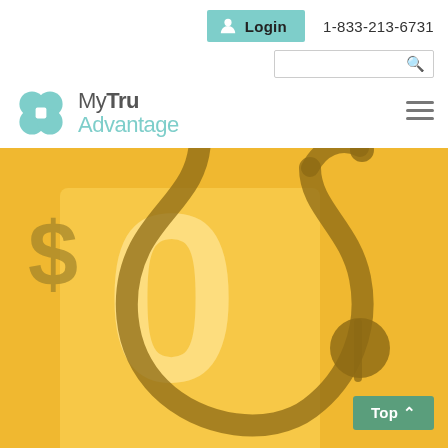[Figure (logo): MyTru Advantage logo with teal four-leaf clover icon and brand name]
Login
1-833-213-6731
[Figure (illustration): Gold/yellow hero image background with large semi-transparent zero ($0), a dollar sign, and a stethoscope illustration in darker gold tones]
Top